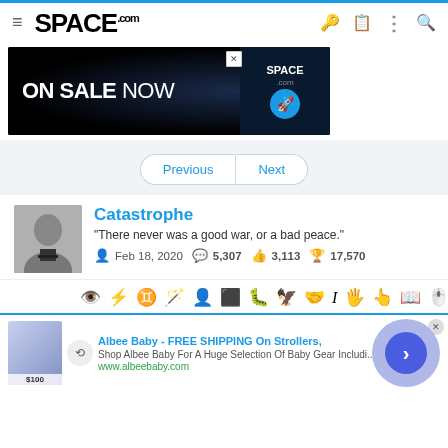SPACE.com
[Figure (screenshot): Advertisement banner: ON SALE NOW with SPACE logo on dark starry background]
Previous | Next
Catastrophe
"There never was a good war, or a bad peace."
Feb 18, 2020   5,307   3,113   17,570
[Figure (infographic): Row of user achievement/badge icons]
[Figure (screenshot): Advertisement: Albee Baby - FREE SHIPPING On Strollers, Shop Albee Baby For A Huge Selection Of Baby Gear Includi... www.albeebaby.com]